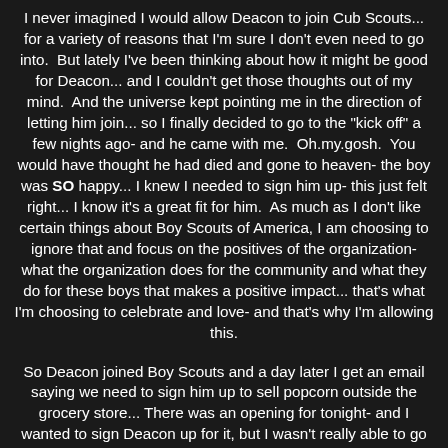I never imagined I would allow Deacon to join Cub Scouts... for a variety of reasons that I'm sure I don't even need to go into. But lately I've been thinking about how it might be good for Deacon... and I couldn't get those thoughts out of my mind. And the universe kept pointing me in the direction of letting him join... so I finally decided to go to the "kick off" a few nights ago- and he came with me. Oh.my.gosh. You would have thought he had died and gone to heaven- the boy was SO happy... I knew I needed to sign him up- this just felt right... I know it's a great fit for him. As much as I don't like certain things about Boy Scouts of America, I am choosing to ignore that and focus on the positives of the organization- what the organization does for the community and what they do for these boys that makes a positive impact... that's what I'm choosing to celebrate and love- and that's why I'm allowing this.
So Deacon joined Boy Scouts and a day later I get an email saying we need to sign him up to sell popcorn outside the grocery store... There was an opening for tonight- and I wanted to sign Deacon up for it, but I wasn't really able to go since I needed to stay home to work and get ready for our